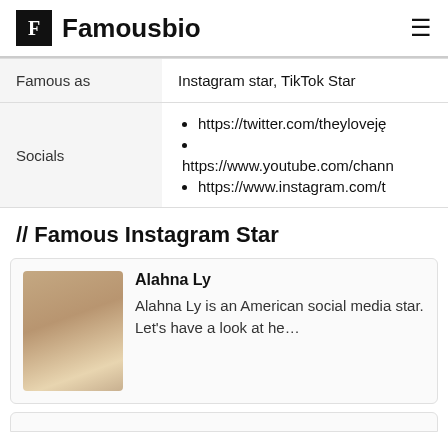Famousbio
|  |  |
| --- | --- |
| Famous as | Instagram star, TikTok Star |
| Socials | https://twitter.com/theyloveję
https://www.youtube.com/chann
https://www.instagram.com/t |
// Famous Instagram Star
Alahna Ly
Alahna Ly is an American social media star. Let's have a look at he...